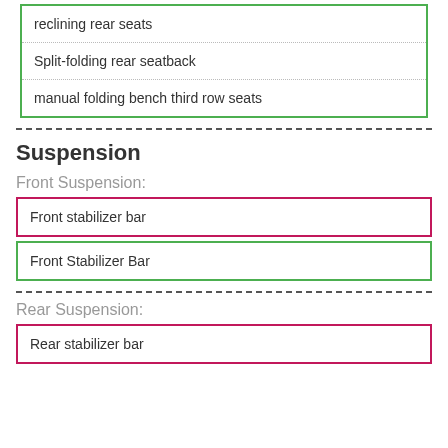reclining rear seats
Split-folding rear seatback
manual folding bench third row seats
Suspension
Front Suspension:
Front stabilizer bar
Front Stabilizer Bar
Rear Suspension:
Rear stabilizer bar